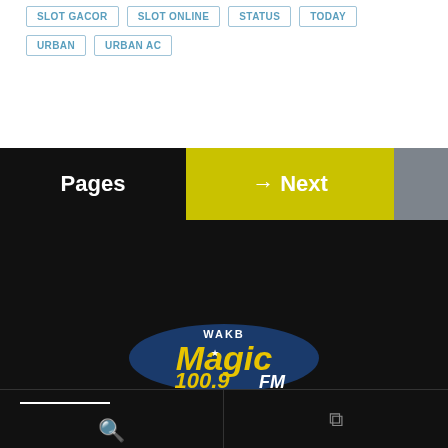SLOT GACOR
SLOT ONLINE
STATUS
TODAY
URBAN
URBAN AC
Pages → Next
[Figure (logo): WAKB Magic 100.9 FM radio station logo — yellow and blue text on dark background]